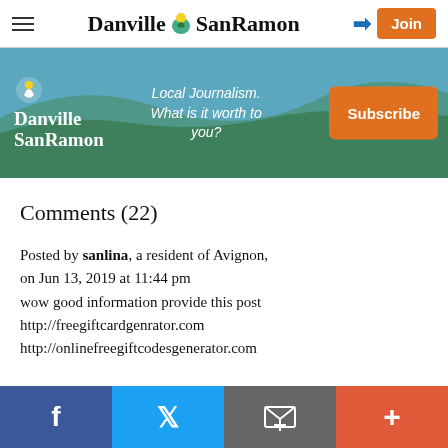Danville SanRamon — nav bar with hamburger menu, login arrow, and Join button
[Figure (infographic): Danville SanRamon subscription banner ad with aerial landscape background, logo, tagline 'Local Journalism. What is it worth to you?', and orange Subscribe button]
Comments (22)
Posted by sanlina, a resident of Avignon, on Jun 13, 2019 at 11:44 pm
wow good information provide this post
http://freegiftcardgenrator.com
http://onlinefreegiftcodesgenerator.com
Social sharing bar: Facebook, Twitter, Email, Plus